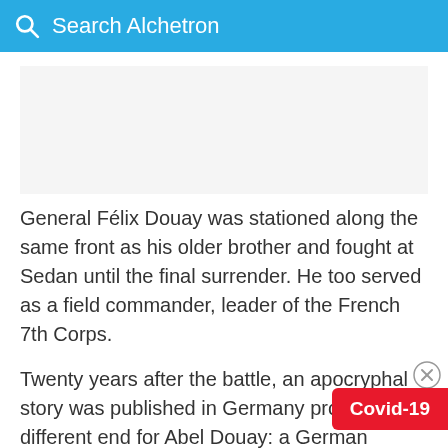Search Alchetron
General Félix Douay was stationed along the same front as his older brother and fought at Sedan until the final surrender. He too served as a field commander, leader of the French 7th Corps.
Twenty years after the battle, an apocryphal story was published in Germany proffering a different end for Abel Douay: a German "eyewitne claimed that the general had been shot by one of